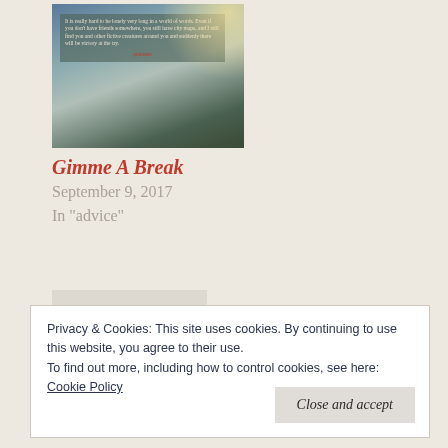[Figure (photo): Mountain landscape with fog and trees, with a text overlay quote about loneliness and finding friends]
Gimme A Break
September 9, 2017
In "advice"
[Figure (other): Chain link / infinity icon symbol]
Posted in action adventure, advice, epic fantasy,
Privacy & Cookies: This site uses cookies. By continuing to use this website, you agree to their use.
To find out more, including how to control cookies, see here:
Cookie Policy
Close and accept